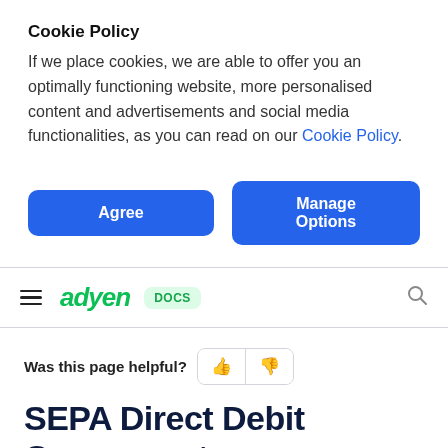Cookie Policy
If we place cookies, we are able to offer you an optimally functioning website, more personalised content and advertisements and social media functionalities, as you can read on our Cookie Policy.
[Figure (other): Two buttons: 'Agree' (blue, rounded) and 'Manage Options' (blue, rounded)]
[Figure (logo): Adyen Docs navigation bar with hamburger menu, green Adyen logo, DOCS badge, and search icon]
Was this page helpful?
SEPA Direct Debit Component